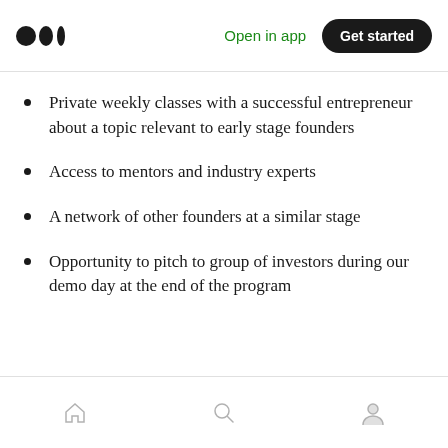Medium logo | Open in app | Get started
Private weekly classes with a successful entrepreneur about a topic relevant to early stage founders
Access to mentors and industry experts
A network of other founders at a similar stage
Opportunity to pitch to group of investors during our demo day at the end of the program
Home | Search | Profile navigation icons